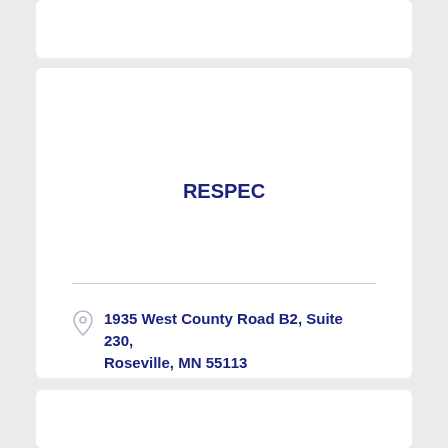RESPEC
1935 West County Road B2, Suite 230, Roseville, MN 55113
(651) 305-2280